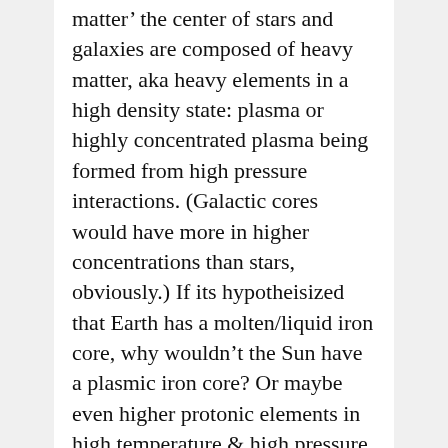matter' the center of stars and galaxies are composed of heavy matter, aka heavy elements in a high density state: plasma or highly concentrated plasma being formed from high pressure interactions. (Galactic cores would have more in higher concentrations than stars, obviously.) If its hypotheisized that Earth has a molten/liquid iron core, why wouldn't the Sun have a plasmic iron core? Or maybe even higher protonic elements in high temperature & high pressure forms. The heavy elements with high pressure & temperature could be what gives each star its massive gravitational pull. And so for the galactic core (a more massive star) it might have even heavier